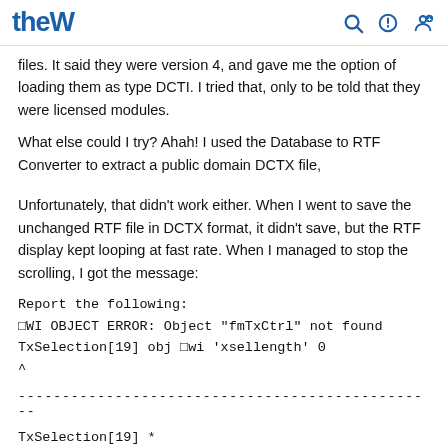theW [logo] [search icon] [power icon] [user icon]
files. It said they were version 4, and gave me the option of loading them as type DCTI. I tried that, only to be told that they were licensed modules.
What else could I try? Ahah! I used the Database to RTF Converter to extract a public domain DCTX file,
Unfortunately, that didn't work either. When I went to save the unchanged RTF file in DCTX format, it didn't save, but the RTF display kept looping at fast rate. When I managed to stop the scrolling, I got the message:
Report the following:
□WI OBJECT ERROR: Object "fmTxCtrl" not found
TxSelection[19] obj □wi 'xsellength' 0
^
------------------------------------------------
TxSelection[19] *
WriteDctx[49]
>[???DELETED???:Click]